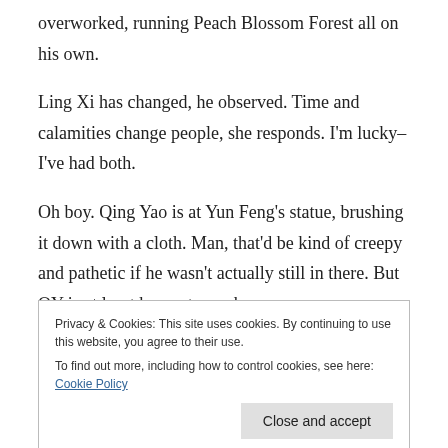overworked, running Peach Blossom Forest all on his own.
Ling Xi has changed, he observed. Time and calamities change people, she responds. I'm lucky–I've had both.
Oh boy. Qing Yao is at Yun Feng's statue, brushing it down with a cloth. Man, that'd be kind of creepy and pathetic if he wasn't actually still in there. But QY is at least happy to see her.
Meanwhile, Si Ming is brooding some more on the
Privacy & Cookies: This site uses cookies. By continuing to use this website, you agree to their use.
To find out more, including how to control cookies, see here: Cookie Policy
tells Si Ming that if he dies, she'll just die, too. It'd be